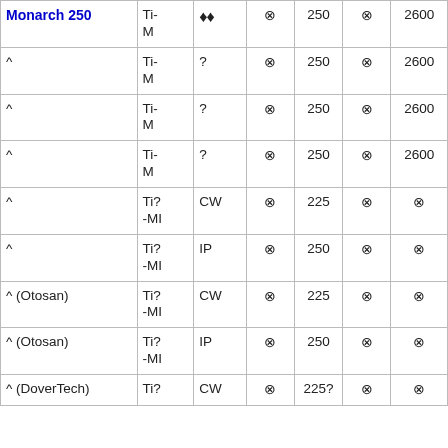| Monarch 250 | Ti-M | ♦♦ | ⊗ | 250 | ⊗ | 2600 |
| ^ | Ti-M | ? | ⊗ | 250 | ⊗ | 2600 |
| ^ | Ti-M | ? | ⊗ | 250 | ⊗ | 2600 |
| ^ | Ti-M | ? | ⊗ | 250 | ⊗ | 2600 |
| ^ | Ti?-MI | CW | ⊗ | 225 | ⊗ | ⊗ |
| ^ | Ti?-MI | IP | ⊗ | 250 | ⊗ | ⊗ |
| ^ (Otosan) | Ti?-MI | CW | ⊗ | 225 | ⊗ | ⊗ |
| ^ (Otosan) | Ti?-MI | IP | ⊗ | 250 | ⊗ | ⊗ |
| ^ (DoverTech) | Ti? | CW | ⊗ | 225? | ⊗ | ⊗ |